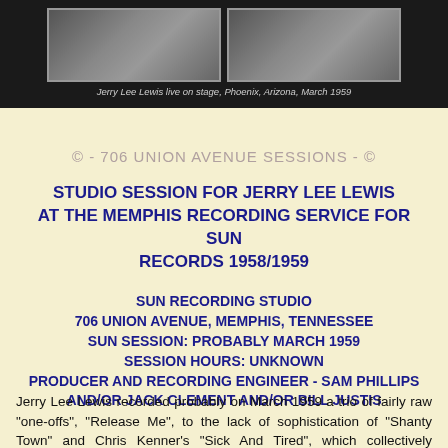[Figure (photo): Two side-by-side photos of Jerry Lee Lewis live on stage, Phoenix, Arizona, March 1959, against a dark background]
Jerry Lee Lewis live on stage, Phoenix, Arizona, March 1959
© - 706 UNION AVENUE SESSIONS - ©
STUDIO SESSION FOR JERRY LEE LEWIS AT THE MEMPHIS RECORDING SERVICE FOR SUN RECORDS 1958/1959
SUN RECORDING STUDIO
706 UNION AVENUE, MEMPHIS, TENNESSEE
SUN SESSION: PROBABLY MARCH 1959
SESSION HOURS: UNKNOWN
PRODUCER AND RECORDING ENGINEER - SAM PHILLIPS AND/OR JACK CLEMENT AND/OR BILL JUSTIS
Jerry Lee Lewis recorded probably on March 1959 a trio of fairly raw "one-offs", "Release Me", to the lack of sophistication of "Shanty Town" and Chris Kenner's "Sick And Tired", which collectively exemplify a very different